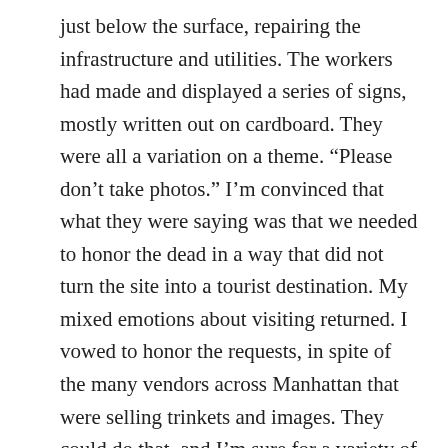just below the surface, repairing the infrastructure and utilities. The workers had made and displayed a series of signs, mostly written out on cardboard. They were all a variation on a theme. “Please don’t take photos.” I’m convinced that what they were saying was that we needed to honor the dead in a way that did not turn the site into a tourist destination. My mixed emotions about visiting returned. I vowed to honor the requests, in spite of the many vendors across Manhattan that were selling trinkets and images. They could do that, and I’m sure for a variety of reasons—some good, some venal. I decided I would honor the requests of the workers.